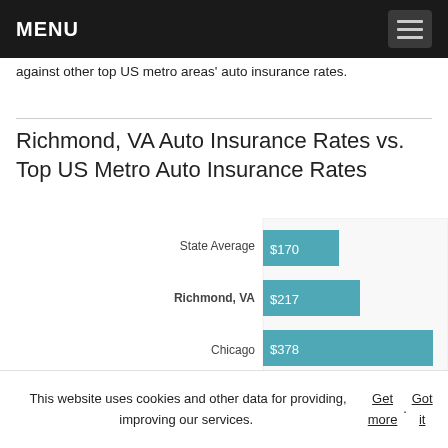MENU
against other top US metro areas' auto insurance rates.
Richmond, VA Auto Insurance Rates vs. Top US Metro Auto Insurance Rates
[Figure (bar-chart): Richmond, VA Auto Insurance Rates vs. Top US Metro Auto Insurance Rates]
This website uses cookies and other data for providing, improving our services. Get more. Got it